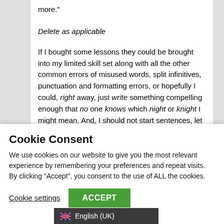more."
Delete as applicable
If I bought some lessons they could be brought into my limited skill set along with all the other common errors of misused words, split infinitives, punctuation and formatting errors, or hopefully I could, right away, just write something compelling enough that no one knows which night or knight I might mean. And, I should not start sentences, let alone paragraphs, except in dialogue, with a conjunction like and. But, you often see them used and
Cookie Consent
We use cookies on our website to give you the most relevant experience by remembering your preferences and repeat visits. By clicking “Accept”, you consent to the use of ALL the cookies.
Cookie settings
ACCEPT
English (UK)